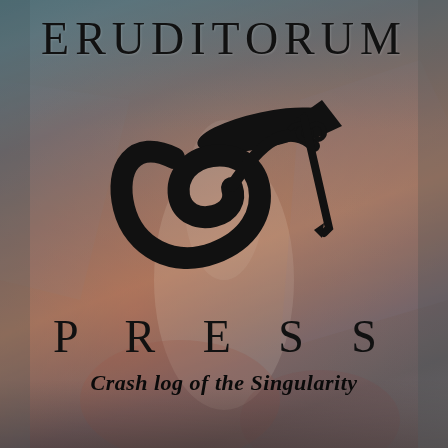[Figure (logo): Eruditorum Press logo page with artistic painted background depicting figures, featuring the Eruditorum Press EP logo in the center with the text ERUDITORUM at top, PRESS below the logo, and 'Crash log of the Singularity' subtitle at bottom]
ERUDITORUM
PRESS
Crash log of the Singularity